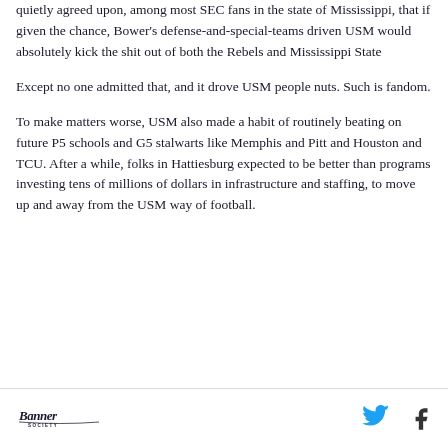quietly agreed upon, among most SEC fans in the state of Mississippi, that if given the chance, Bower's defense-and-special-teams driven USM would absolutely kick the shit out of both the Rebels and Mississippi State
Except no one admitted that, and it drove USM people nuts. Such is fandom.
To make matters worse, USM also made a habit of routinely beating on future P5 schools and G5 stalwarts like Memphis and Pitt and Houston and TCU. After a while, folks in Hattiesburg expected to be better than programs investing tens of millions of dollars in infrastructure and staffing, to move up and away from the USM way of football.
Banner Society logo, Twitter icon, Facebook icon